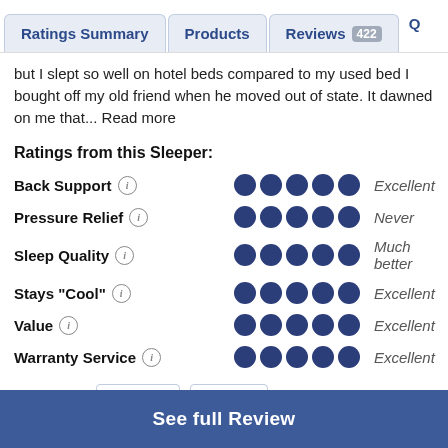Ratings Summary | Products | Reviews 422 | Q
but I slept so well on hotel beds compared to my used bed I bought off my old friend when he moved out of state. It dawned on me that... Read more
Ratings from this Sleeper:
Back Support — 5 dots — Excellent
Pressure Relief — 5 dots — Never
Sleep Quality — 5 dots — Much better
Stays "Cool" — 5 dots — Excellent
Value — 5 dots — Excellent
Warranty Service — 5 dots — Excellent
Helpful? (0) Yes No
See full Review